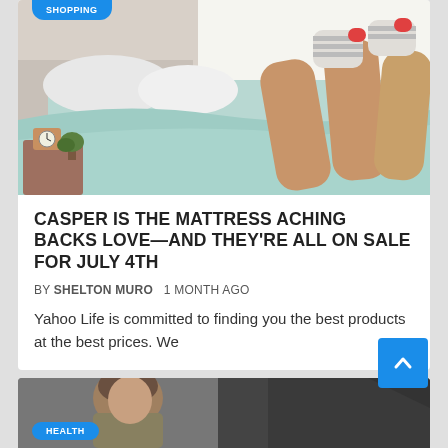[Figure (photo): Person lying on a bed with light teal/mint bedding, legs raised, wearing striped socks with red accents. Wooden nightstand with a small clock visible on the left.]
CASPER IS THE MATTRESS ACHING BACKS LOVE—AND THEY'RE ALL ON SALE FOR JULY 4TH
BY SHELTON MURO    1 MONTH AGO
Yahoo Life is committed to finding you the best products at the best prices. We
[Figure (photo): Partial photo of a person near a car, partially visible at bottom of page. Health badge visible.]